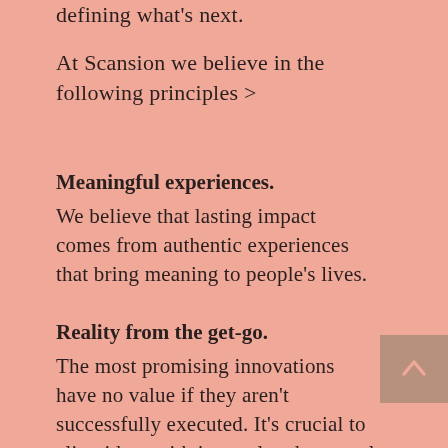defining what's next.
At Scansion we believe in the following principles >
Meaningful experiences.
We believe that lasting impact comes from authentic experiences that bring meaning to people's lives.
Reality from the get-go.
The most promising innovations have no value if they aren't successfully executed. It's crucial to align ideas with internal and external conditions from the start.